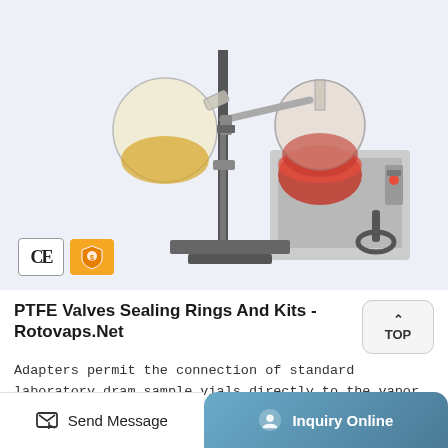[Figure (photo): Rotary evaporator laboratory equipment with round-bottom flasks (one containing yellow liquid, one with red liquid), vertical stand, heating bath, and CE and gold supplier certification badges in lower left corner.]
PTFE Valves Sealing Rings And Kits - Rotovaps.Net
Adapters permit the connection of standard laboratory dram sample vials directly to the vapor tube or a bump trap of a rotary evaporator. Adapters have a top outer joint of the listed size and a 20-400 G.P.I. thread at the bottom. ... Complete Kit: 29/26 Glass Adapter with All 6
Send Message    Inquiry Online